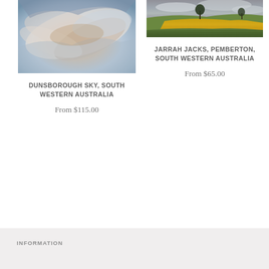[Figure (photo): Dramatic swirling cloud sky photograph, Dunsborough, South Western Australia]
DUNSBOROUGH SKY, SOUTH WESTERN AUSTRALIA
From $115.00
[Figure (photo): Rural landscape with green fields, yellow crop, lone tree and cloudy sky, Jarrah Jacks, Pemberton, South Western Australia]
JARRAH JACKS, PEMBERTON, SOUTH WESTERN AUSTRALIA
From $65.00
INFORMATION